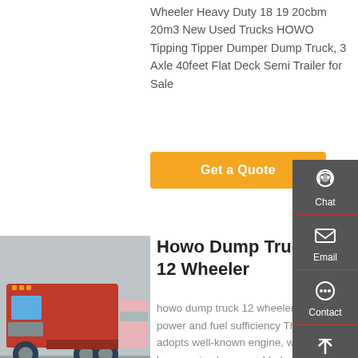Wheeler Heavy Duty 18 19 20cbm 20m3 New Used Trucks HOWO Tipping Tipper Dumper Dump Truck, 3 Axle 40feet Flat Deck Semi Trailer for Sale
Get a Quote
[Figure (photo): Red HOWO dump truck/tractor unit parked in a yard with other trucks in background]
Howo Dump Truck 12 Wheeler
howo dump truck 12 wheeler 1. Strong power and fuel sufficiency This truck adopts well-known engine, which has been praised as a world-chases power, is one
Chat
Email
Contact
Top